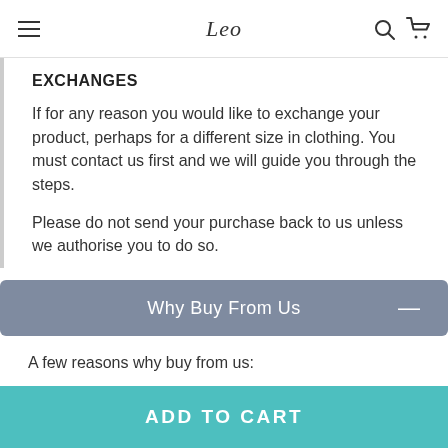Leo
EXCHANGES
If for any reason you would like to exchange your product, perhaps for a different size in clothing. You must contact us first and we will guide you through the steps.
Please do not send your purchase back to us unless we authorise you to do so.
Why Buy From Us
A few reasons why buy from us:
SAFE SHOPPING
ADD TO CART